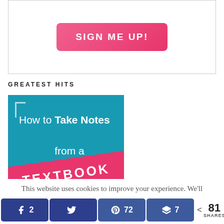[Figure (screenshot): Pink gradient 'SIGN ME UP!' button inside a bordered white box]
GREATEST HITS
[Figure (illustration): Teal image with text 'How to Take Notes from a TEXTBOOK' with decorative pink banner at bottom]
This website uses cookies to improve your experience. We'll assume you're ok with this, but you can opt-out if you wish.
[Figure (screenshot): Social share bar with Facebook (2), Twitter, Pinterest (72), Buffer (7) buttons and total 81 SHARES]